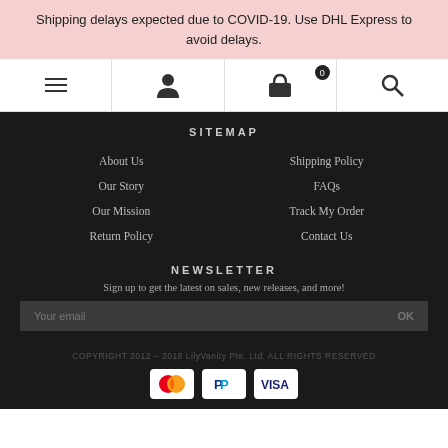Shipping delays expected due to COVID-19. Use DHL Express to avoid delays.
[Figure (screenshot): Navigation bar with hamburger menu, user profile icon, shopping bag icon with 0 badge, and search icon]
SITEMAP
About Us
Our Story
Our Mission
Return Policy
Shipping Policy
FAQs
Track My Order
Contact Us
NEWSLETTER
Sign up to get the latest on sales, new releases, and more!
Your email
COPYRIGHT 2012 – 2018 LilyVanity Pte. Ltd. ALL RIGHTS RESERVED
[Figure (other): Payment icons: Mastercard, PayPal, VISA]